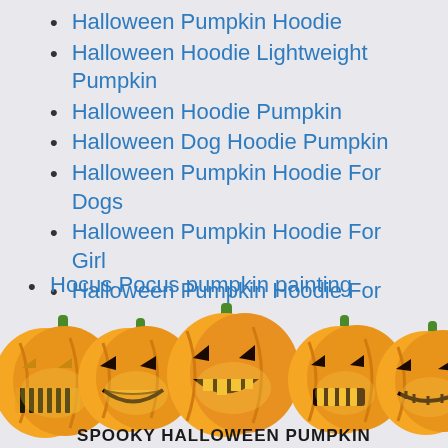Halloween Pumpkin Hoodie
Halloween Hoodie Lightweight Pumpkin
Halloween Hoodie Pumpkin
Halloween Dog Hoodie Pumpkin
Halloween Pumpkin Hoodie For Dogs
Halloween Pumpkin Hoodie For Girl
Halloween Pumpkin Hoodie For Women
Halloween Hoodie Half And Half Pumpkin
Hocus Pocus pumpkin painting
[Figure (illustration): Five decorative Halloween jack-o-lantern pumpkins in a row at the bottom of the page, orange with green stems and glowing yellow carved faces]
SPOOKY HALLOWEEN PUMPKIN